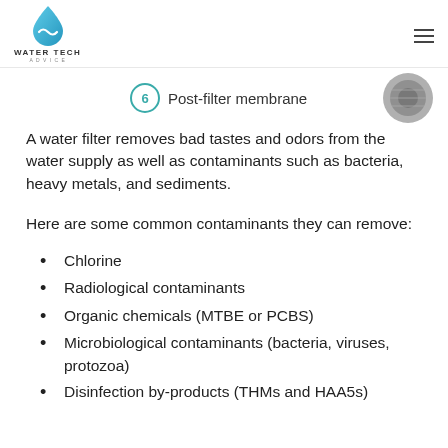WATER TECH ADVICE
[Figure (photo): Partial image of a post-filter membrane component with a circled number 6 label and the text 'Post-filter membrane']
A water filter removes bad tastes and odors from the water supply as well as contaminants such as bacteria, heavy metals, and sediments.
Here are some common contaminants they can remove:
Chlorine
Radiological contaminants
Organic chemicals (MTBE or PCBS)
Microbiological contaminants (bacteria, viruses, protozoa)
Disinfection by-products (THMs and HAA5s)